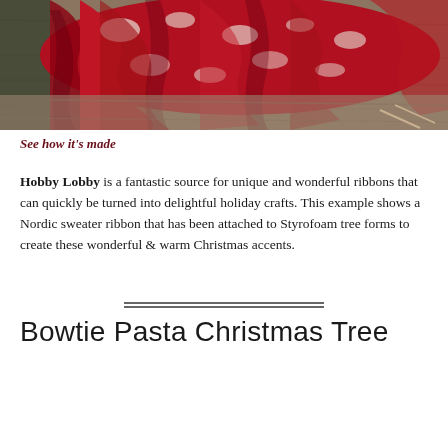[Figure (photo): Close-up photo of red and white Nordic sweater ribbon fabric folded/ruffled on a wooden surface, creating a textured Christmas tree-like shape.]
See how it's made
Hobby Lobby is a fantastic source for unique and wonderful ribbons that can quickly be turned into delightful holiday crafts. This example shows a Nordic sweater ribbon that has been attached to Styrofoam tree forms to create these wonderful & warm Christmas accents.
Bowtie Pasta Christmas Tree